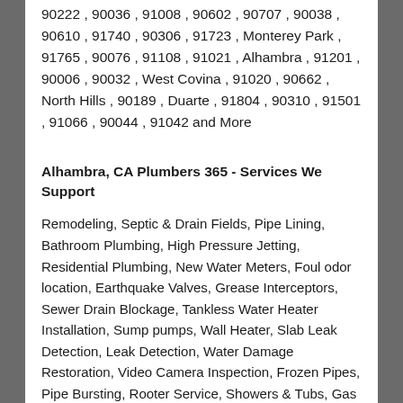90222 , 90036 , 91008 , 90602 , 90707 , 90038 , 90610 , 91740 , 90306 , 91723 , Monterey Park , 91765 , 90076 , 91108 , 91021 , Alhambra , 91201 , 90006 , 90032 , West Covina , 91020 , 90662 , North Hills , 90189 , Duarte , 91804 , 90310 , 91501 , 91066 , 90044 , 91042 and More
Alhambra, CA Plumbers 365 - Services We Support
Remodeling, Septic & Drain Fields, Pipe Lining, Bathroom Plumbing, High Pressure Jetting, Residential Plumbing, New Water Meters, Foul odor location, Earthquake Valves, Grease Interceptors, Sewer Drain Blockage, Tankless Water Heater Installation, Sump pumps, Wall Heater, Slab Leak Detection, Leak Detection, Water Damage Restoration, Video Camera Inspection, Frozen Pipes, Pipe Bursting, Rooter Service, Showers & Tubs, Gas Leak Detection, Trenchless Sewer Repair, Mold Removal, Commercial Plumbing, Sewer Lines, Copper Piping Repair and Replacements, Emergency Plumbing, Drain Cleaning, Sewer Repair and Replacements, General Plumbing, Floor Drains,